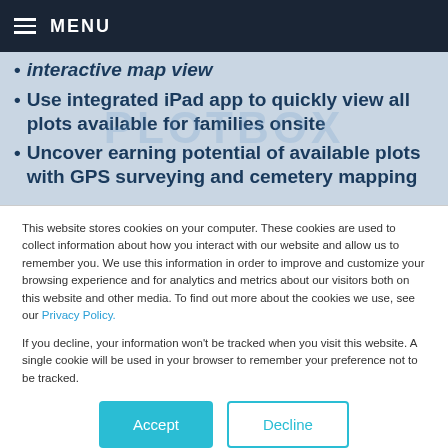MENU
interactive map view
Use integrated iPad app to quickly view all plots available for families onsite
Uncover earning potential of available plots with GPS surveying and cemetery mapping
This website stores cookies on your computer. These cookies are used to collect information about how you interact with our website and allow us to remember you. We use this information in order to improve and customize your browsing experience and for analytics and metrics about our visitors both on this website and other media. To find out more about the cookies we use, see our Privacy Policy.
If you decline, your information won't be tracked when you visit this website. A single cookie will be used in your browser to remember your preference not to be tracked.
Accept  Decline